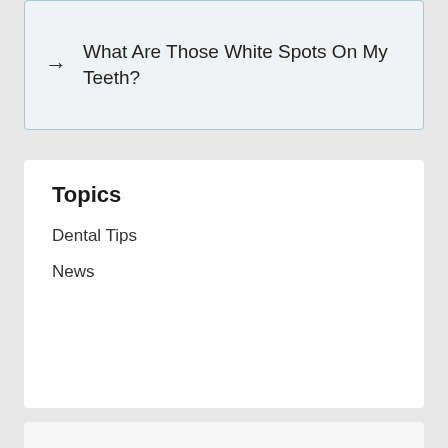→ What Are Those White Spots On My Teeth?
Topics
Dental Tips
News
Request Appointment
You can schedule your next appointment with us online!
Schedule Now